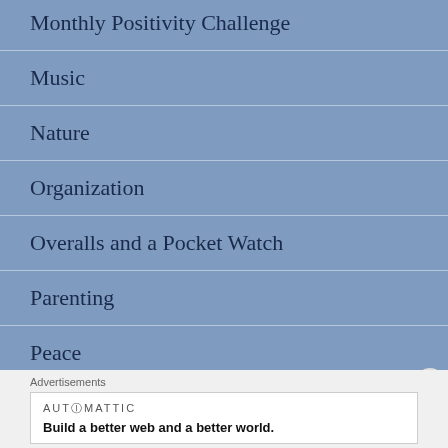Monthly Positivity Challenge
Music
Nature
Organization
Overalls and a Pocket Watch
Parenting
Peace
Poetry
Advertisements
AUTOMATTIC
Build a better web and a better world.